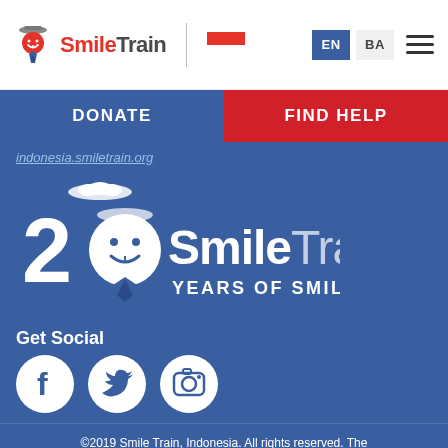[Figure (logo): Smile Train logo with icon — 'Smile' in red, 'Train' in dark gray, with a red/white cleft lip icon, followed by a divider line and an Indonesian flag icon]
EN  BA  ☰
DONATE
FIND HELP
indonesia.smiletrain.org
[Figure (logo): 20 SmileTrain YEARS OF SMILES anniversary logo in white on blue background — stylized '20' with Smile Train mascot icon integrated into the '0', text 'SmileTrain' large, 'YEARS OF SMILES' below]
Get Social
[Figure (illustration): Three white circular social media icons: Facebook (f), Twitter (bird), Instagram (camera) on blue background]
©2019 Smile Train, Indonesia. All rights reserved. The statistics and information included on this site regarding